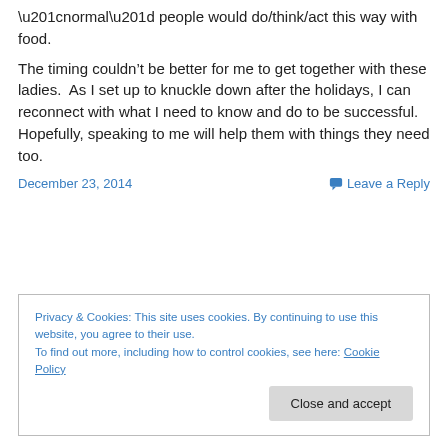“normal” people would do/think/act this way with food.
The timing couldn’t be better for me to get together with these ladies.  As I set up to knuckle down after the holidays, I can reconnect with what I need to know and do to be successful.  Hopefully, speaking to me will help them with things they need too.
December 23, 2014
Leave a Reply
Privacy & Cookies: This site uses cookies. By continuing to use this website, you agree to their use.
To find out more, including how to control cookies, see here: Cookie Policy
Close and accept